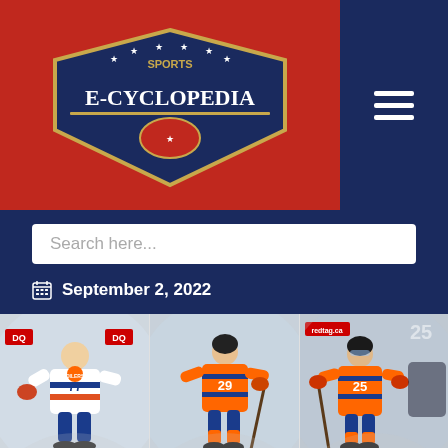[Figure (logo): Sports E-Cyclopedia logo on red background with hamburger menu icon on dark blue background]
Search here...
September 2, 2022
[Figure (photo): Oscar Klefbom hockey player in Edmonton Oilers white jersey skating]
[Figure (photo): Leon Draisaitl hockey player #29 in Edmonton Oilers orange jersey skating with puck]
[Figure (photo): Darnell Nurse #25 hockey player in Edmonton Oilers orange jersey skating]
Oscar Klefbom
2013-Present
Leon Draisaitl
2014-Present
Darnell Nurse
2014-Present